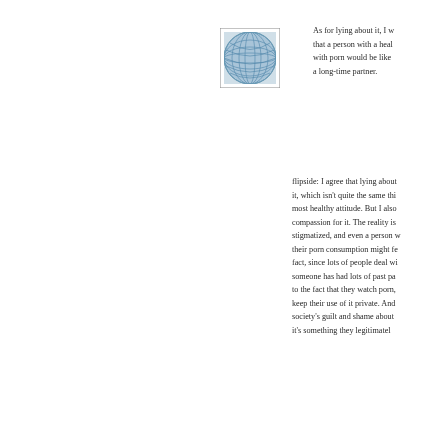[Figure (logo): Blue geometric globe/sphere logo with grid pattern on white background, square bordered image]
As for lying about it, I w that a person with a heal with porn would be like a long-time partner.
flipside: I agree that lying about it, which isn't quite the same thi most healthy attitude. But I also compassion for it. The reality is stigmatized, and even a person w their porn consumption might fe fact, since lots of people deal w someone has had lots of past pa to the fact that they watch porn, keep their use of it private. And society's guilt and shame about it's something they legitimatel